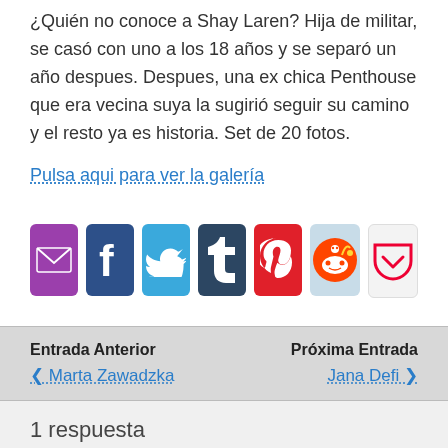¿Quién no conoce a Shay Laren? Hija de militar, se casó con uno a los 18 años y se separó un año despues. Despues, una ex chica Penthouse que era vecina suya la sugirió seguir su camino y el resto ya es historia. Set de 20 fotos.
Pulsa aqui para ver la galería
[Figure (infographic): Social sharing icons: email (purple), Facebook (dark blue), Twitter (light blue), Tumblr (dark navy), Pinterest (red), Reddit (light blue), Pocket (white/grey)]
Entrada Anterior ❮ Marta Zawadzka | Próxima Entrada Jana Defi ❯
1 respuesta